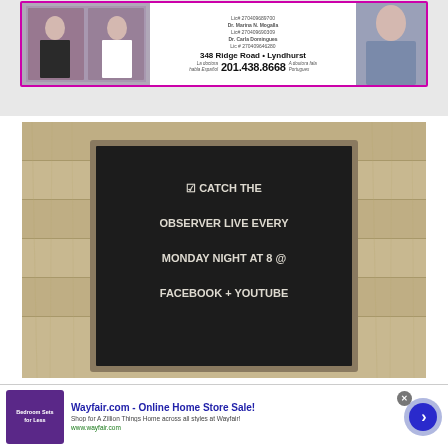[Figure (photo): Medical/dental office advertisement with two female doctors photos, address 348 Ridge Road, Lyndhurst, phone 201.438.8668, pink border, Spanish and Portuguese language note]
[Figure (photo): Chalkboard sign on rustic wood background reading: CATCH THE OBSERVER LIVE EVERY MONDAY NIGHT AT 8 @ FACEBOOK + YOUTUBE]
[Figure (infographic): Wayfair.com online advertisement - Online Home Store Sale! Shop for A Zillion Things Home across all styles at Wayfair! www.wayfair.com - with thumbnail of bedroom furniture ad and purple arrow button]